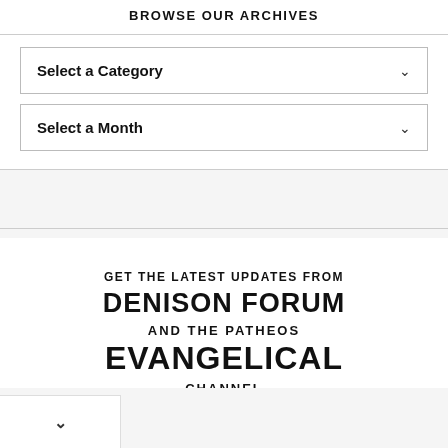BROWSE OUR ARCHIVES
Select a Category
Select a Month
GET THE LATEST UPDATES FROM DENISON FORUM AND THE PATHEOS EVANGELICAL CHANNEL